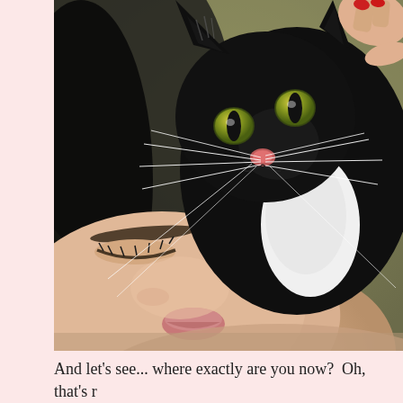[Figure (photo): A black and white tuxedo kitten with bright yellow-green eyes held close to a woman's face. The woman is lying down and the kitten's whiskers brush against her mouth/lips area. A hand with red nail polish is visible holding the kitten at the top right. Background is blurred olive/tan.]
And let's see... where exactly are you now?  Oh, that's r